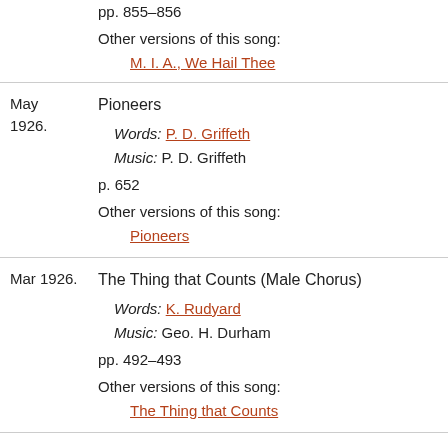pp. 855–856
Other versions of this song:
M. I. A., We Hail Thee
May 1926.
Pioneers
Words: P. D. Griffeth
Music: P. D. Griffeth
p. 652
Other versions of this song:
Pioneers
Mar 1926.
The Thing that Counts (Male Chorus)
Words: K. Rudyard
Music: Geo. H. Durham
pp. 492–493
Other versions of this song:
The Thing that Counts
Jan 1926.
Testimony